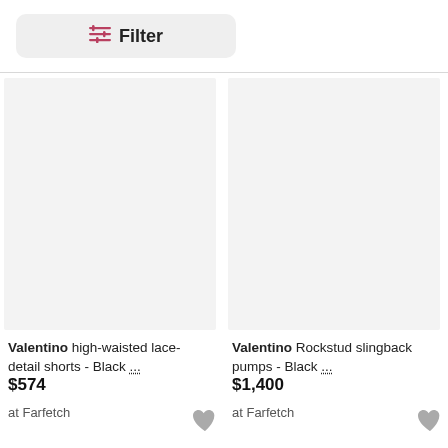[Figure (screenshot): Filter button with filter icon and bold text 'Filter' on a light gray rounded rectangle background]
[Figure (photo): Product image placeholder (light gray rectangle) for Valentino high-waisted lace-detail shorts - Black]
Valentino high-waisted lace-detail shorts - Black ...
$574
at Farfetch
[Figure (photo): Product image placeholder (light gray rectangle) for Valentino Rockstud slingback pumps - Black]
Valentino Rockstud slingback pumps - Black ...
$1,400
at Farfetch